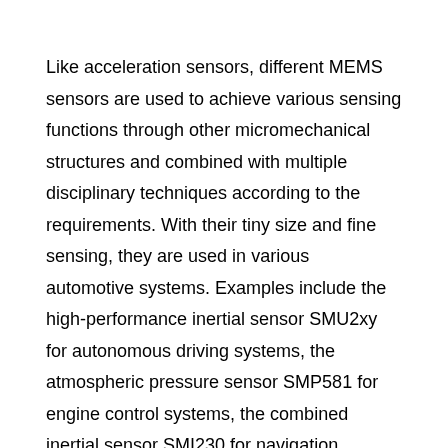Like acceleration sensors, different MEMS sensors are used to achieve various sensing functions through other micromechanical structures and combined with multiple disciplinary techniques according to the requirements. With their tiny size and fine sensing, they are used in various automotive systems. Examples include the high-performance inertial sensor SMU2xy for autonomous driving systems, the atmospheric pressure sensor SMP581 for engine control systems, the combined inertial sensor SMI230 for navigation systems, and the low acceleration sensor SMA73x for active suspension systems, among others. Today, each modern car contains an average of five Bosch MEMS sensors.
In addition to the automotive sector, Bosch also saw the growing